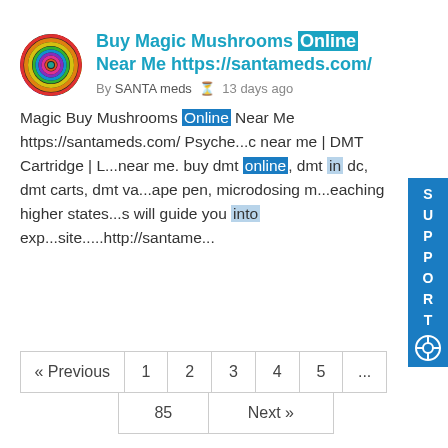Buy Magic Mushrooms Online Near Me https://santameds.com/
By SANTA meds  13 days ago
Magic Buy Mushrooms Online Near Me https://santameds.com/ Psyche...c near me | DMT Cartridge | L...near me. buy dmt online, dmt in dc, dmt carts, dmt va...ape pen, microdosing m...eaching higher states...s will guide you into exp...site.....http://santame...
« Previous  1  2  3  4  5  ...  85  Next »